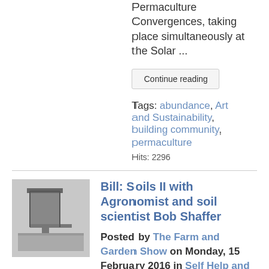Permaculture Convergences, taking place simultaneously at the Solar ...
Continue reading
Tags: abundance, Art and Sustainability, building community, permaculture
Hits: 2296
[Figure (photo): Black and white thumbnail photo of a farm/garden structure]
Bill: Soils II with Agronomist and soil scientist Bob Shaffer
Posted by The Farm and Garden Show on Monday, 15 February 2016 in Self Help and Sustainability
This second interview with Bob Shaffer was engineered by Lorraine Dechter - thanks! Jaye is out of town and I was unable to drive to the st...